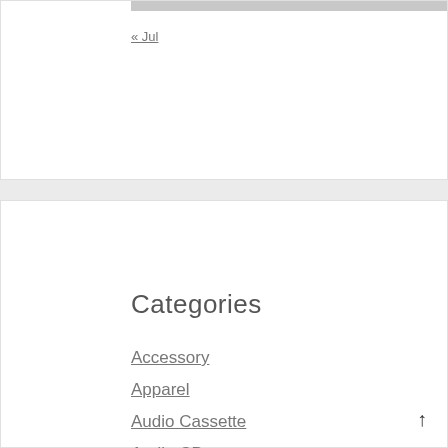« Jul
Categories
Accessory
Apparel
Audio Cassette
Audio CD
Automotive
Baby Product
Bath Book
Battery
Blu-ray